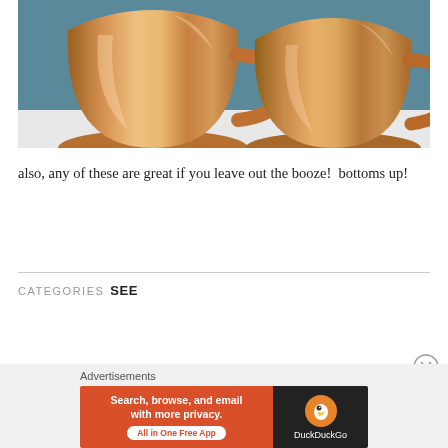[Figure (photo): Two shiny copper Moscow Mule mugs on a white surface with a blue-green background]
also, any of these are great if you leave out the booze!  bottoms up!
CATEGORIES  SEE
[Figure (infographic): Advertisement banner: DuckDuckGo ad — 'Search, browse, and email with more privacy. All in One Free App' with DuckDuckGo duck logo on dark background]
Advertisements